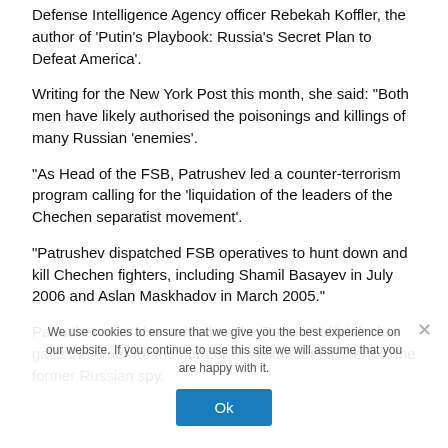Defense Intelligence Agency officer Rebekah Koffler, the author of 'Putin's Playbook: Russia's Secret Plan to Defeat America'.
Writing for the New York Post this month, she said: "Both men have likely authorised the poisonings and killings of many Russian 'enemies'.
"As Head of the FSB, Patrushev led a counter-terrorism program calling for the 'liquidation of the leaders of the Chechen separatist movement'.
"Patrushev dispatched FSB operatives to hunt down and kill Chechen fighters, including Shamil Basayev in July 2006 and Aslan Maskhadov in March 2005."
Patrushev was also named as the Russian official who gave the order for the murder of Alexander Litvinenko, the former Russian spy.
We use cookies to ensure that we give you the best experience on our website. If you continue to use this site we will assume that you are happy with it.